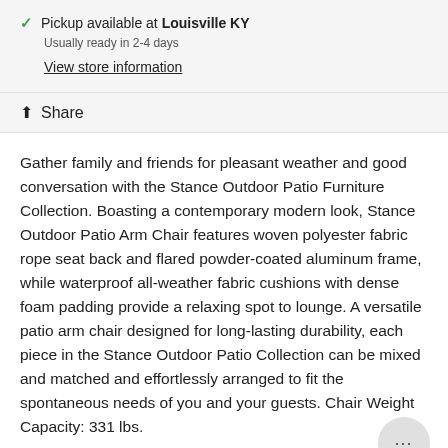Pickup available at Louisville KY
Usually ready in 2-4 days
View store information
Share
Gather family and friends for pleasant weather and good conversation with the Stance Outdoor Patio Furniture Collection. Boasting a contemporary modern look, Stance Outdoor Patio Arm Chair features woven polyester fabric rope seat back and flared powder-coated aluminum frame, while waterproof all-weather fabric cushions with dense foam padding provide a relaxing spot to lounge. A versatile patio arm chair designed for long-lasting durability, each piece in the Stance Outdoor Patio Collection can be mixed and matched and effortlessly arranged to fit the spontaneous needs of you and your guests. Chair Weight Capacity: 331 lbs.